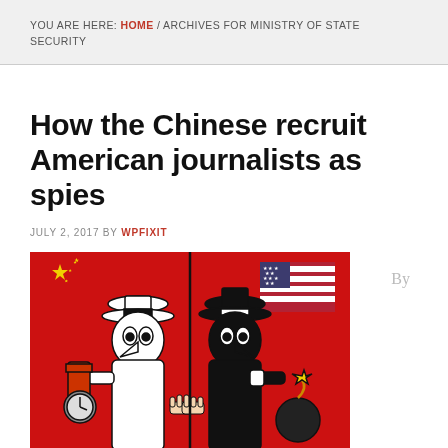YOU ARE HERE: HOME / ARCHIVES FOR MINISTRY OF STATE SECURITY
How the Chinese recruit American journalists as spies
JULY 2, 2017 BY WPFIXIT
[Figure (illustration): Cartoon illustration in Spy vs Spy style showing two spy characters shaking hands — one dressed in white holding dynamite with a clock, one dressed in black holding a bomb. Chinese flag (red with yellow stars) in upper left background, American flag in upper right background.]
By